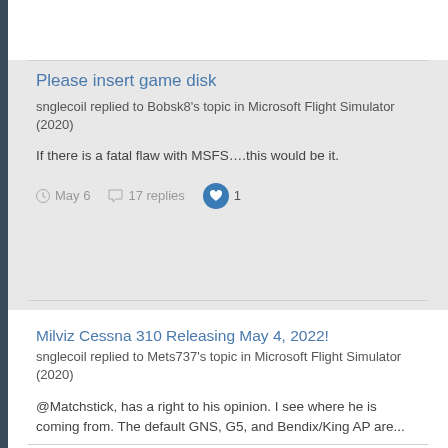Please insert game disk
snglecoil replied to Bobsk8's topic in Microsoft Flight Simulator (2020)
If there is a fatal flaw with MSFS….this would be it.
May 6   17 replies   1
Milviz Cessna 310 Releasing May 4, 2022!
snglecoil replied to Mets737's topic in Microsoft Flight Simulator (2020)
@Matchstick, has a right to his opinion. I see where he is coming from. The default GNS, G5, and Bendix/King AP are...
May 4   675 replies   1